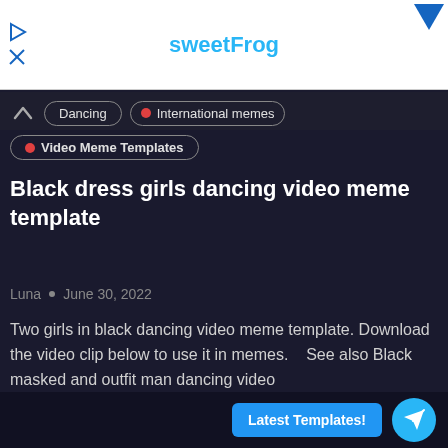[Figure (screenshot): Ad banner with sweetFrog logo and play/close icons on white background]
Dancing
International memes
Video Meme Templates
Black dress girls dancing video meme template
Luna • June 30, 2022
Two girls in black dancing video meme template. Download the video clip below to use it in memes.   See also Black masked and outfit man dancing video template ...
READ MORE
Comment
Latest Templates!